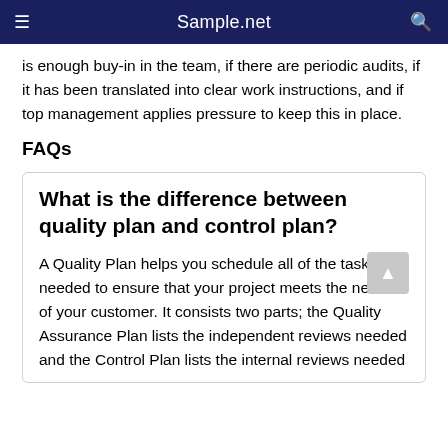Sample.net
is enough buy-in in the team, if there are periodic audits, if it has been translated into clear work instructions, and if top management applies pressure to keep this in place.
FAQs
What is the difference between quality plan and control plan?
A Quality Plan helps you schedule all of the tasks needed to ensure that your project meets the needs of your customer. It consists two parts; the Quality Assurance Plan lists the independent reviews needed and the Control Plan lists the internal reviews needed